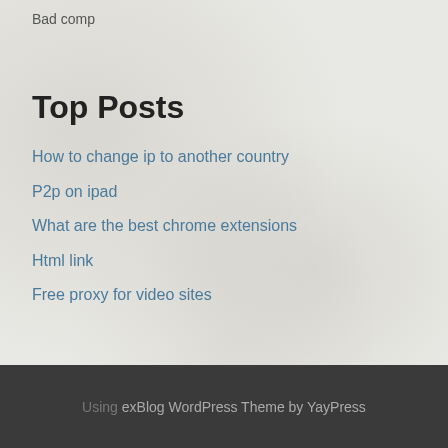Bad comp
Top Posts
How to change ip to another country
P2p on ipad
What are the best chrome extensions
Html link
Free proxy for video sites
Using exBlog WordPress Theme by YayPress